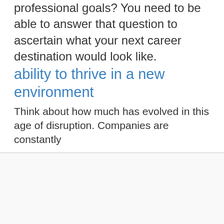professional goals? You need to be able to answer that question to ascertain what your next career destination would look like.
ability to thrive in a new environment
Think about how much has evolved in this age of disruption. Companies are constantly
welcome Take control of your cookies.
To help you better and personally, we use technology to our advantage, including cookies. More info can be found in our cookie policy.